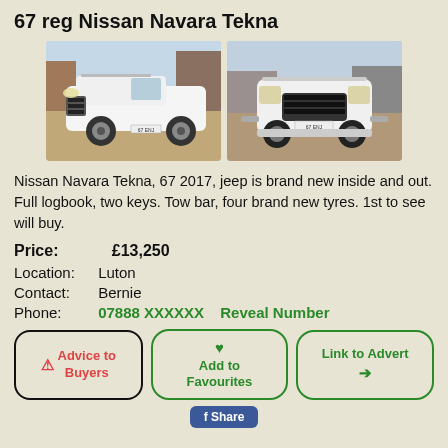67 reg Nissan Navara Tekna
[Figure (photo): Two photos of a white Nissan Navara Tekna pickup truck, one showing the side/front angle and one showing the front]
Nissan Navara Tekna, 67 2017, jeep is brand new inside and out. Full logbook, two keys. Tow bar, four brand new tyres. 1st to see will buy.
Price: £13,250
Location: Luton
Contact: Bernie
Phone: 07888 XXXXXX   Reveal Number
⚠ Advice to Buyers   ♥ Add to Favourites   Link to Advert ➔